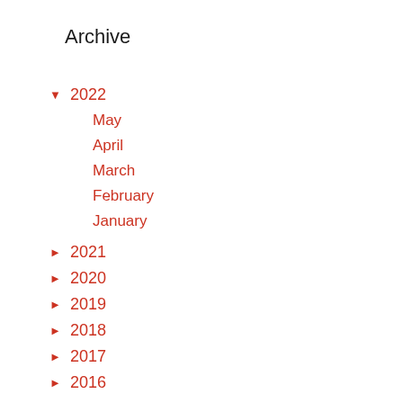Archive
▼ 2022
May
April
March
February
January
► 2021
► 2020
► 2019
► 2018
► 2017
► 2016